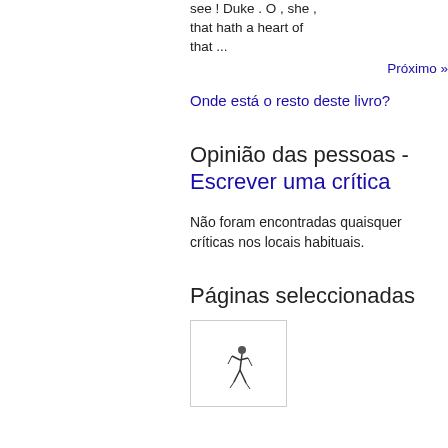see ! Duke . O , she , that hath a heart of that ...
Próximo »
Onde está o resto deste livro?
Opinião das pessoas - Escrever uma crítica
Não foram encontradas quaisquer críticas nos locais habituais.
Páginas seleccionadas
[Figure (illustration): Small black and white illustration of a figure, possibly a person or creature in motion]